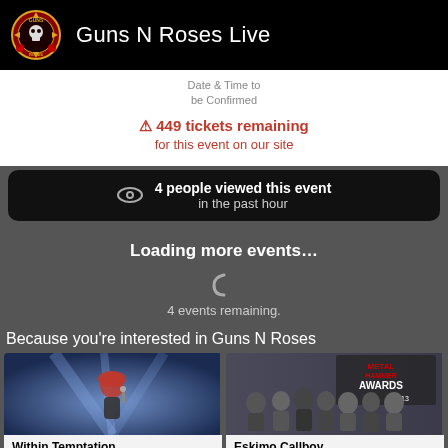Guns N Roses Live
Date & Time to be Confirmed
⚠ 449 tickets remaining for this event on our site
4 people viewed this event in the past hour
Loading more events…
4 events remaining.
Because you're interested in Guns N Roses
[Figure (photo): Within Temptation artist photo - female singer with red hair on stage with dramatic lighting]
Within Temptation
[Figure (photo): Eskimo Callboy band photo at Metal Hammer Awards 2013]
Eskimo Callboy